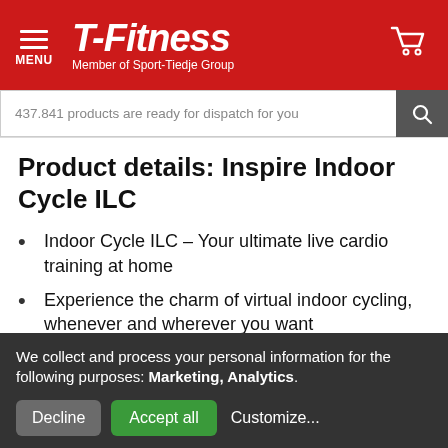T-Fitness — Member of Sport-Tiedje Group
437.841 products are ready for dispatch for you
Product details: Inspire Indoor Cycle ILC
Indoor Cycle ILC – Your ultimate live cardio training at home
Experience the charm of virtual indoor cycling, whenever and wherever you want
Stream over 150 live and on-demand courses directly on your phone, tablet or smart TV via the Inspire app
We collect and process your personal information for the following purposes: Marketing, Analytics.
Decline  Accept all  Customize...